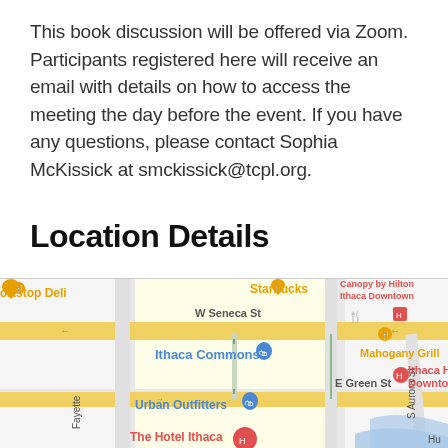This book discussion will be offered via Zoom. Participants registered here will receive an email with details on how to access the meeting the day before the event. If you have any questions, please contact Sophia McKissick at smckissick@tcpl.org.
Location Details
[Figure (map): Google Maps screenshot showing downtown Ithaca area with W Seneca St, E Green St, S Aurora St, Fayette St visible. Notable locations include Ithaca Commons, Starbucks, Mahogany Grill, Urban Outfitters, The Hotel Ithaca, Canopy by Hilton Ithaca Downtown, and other establishments.]